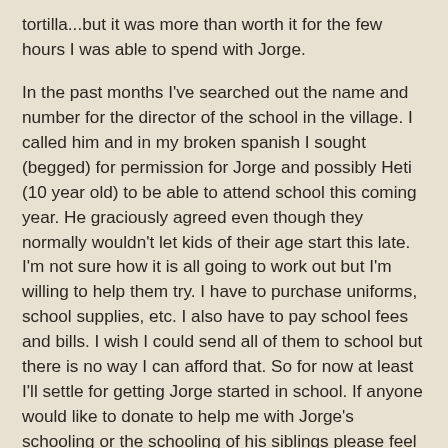tortilla...but it was more than worth it for the few hours I was able to spend with Jorge.
In the past months I've searched out the name and number for the director of the school in the village. I called him and in my broken spanish I sought (begged) for permission for Jorge and possibly Heti (10 year old) to be able to attend school this coming year. He graciously agreed even though they normally wouldn't let kids of their age start this late. I'm not sure how it is all going to work out but I'm willing to help them try. I have to purchase uniforms, school supplies, etc. I also have to pay school fees and bills. I wish I could send all of them to school but there is no way I can afford that. So for now at least I'll settle for getting Jorge started in school. If anyone would like to donate to help me with Jorge's schooling or the schooling of his siblings please feel free to donate. You can make checks out to Belpre Church of Christ and write my name in the memo line. Mail the check and a note explaining what the money is for to Teresa Lauer at 3515 St Rt 266 Stockport OH 43787. School starts in a week so I'll be frantically trying to get his uniform and such bought and ready for him to begin on time.